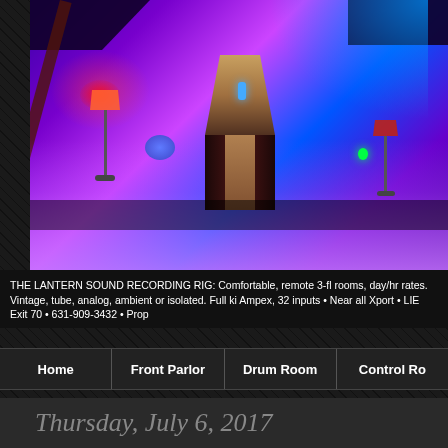[Figure (photo): Interior of The Lantern Sound recording studio lit with purple, blue, and pink ambient lighting. A vocal booth is visible at center with dark curtains. Floor lamps with red/orange shades on left and right. Blue glowing microphone hanging from arc stand at center. Green glowing object at right and blue rounded object at lower left.]
THE LANTERN SOUND RECORDING RIG: Comfortable, remote 3-fl rooms, day/hr rates. Vintage, tube, analog, ambient or isolated. Full ki Ampex, 32 inputs • Near all Xport • LIE Exit 70 • 631-909-3432 • Prop
Home | Front Parlor | Drum Room | Control Ro
Thursday, July 6, 2017